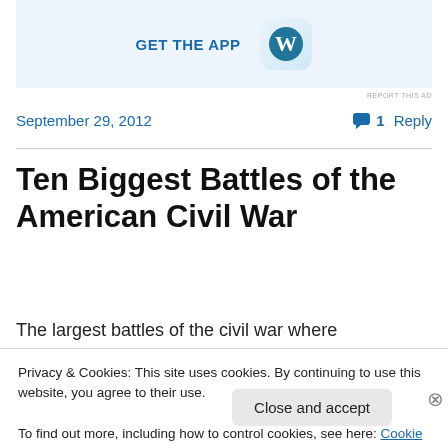[Figure (screenshot): WordPress app advertisement banner with 'GET THE APP' text and WordPress logo icon on light blue background]
REPORT THIS AD
September 29, 2012
1 Reply
Ten Biggest Battles of the American Civil War
The largest battles of the civil war where approximately
Privacy & Cookies: This site uses cookies. By continuing to use this website, you agree to their use.
To find out more, including how to control cookies, see here: Cookie Policy
Close and accept